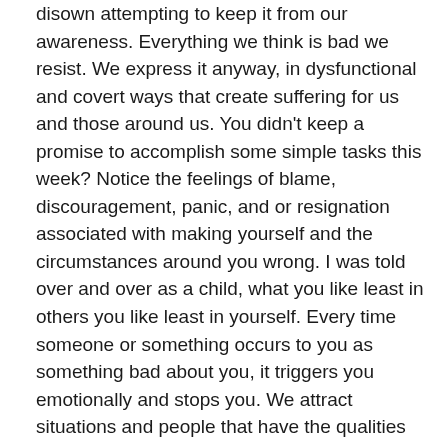disown attempting to keep it from our awareness. Everything we think is bad we resist. We express it anyway, in dysfunctional and covert ways that create suffering for us and those around us. You didn't keep a promise to accomplish some simple tasks this week? Notice the feelings of blame, discouragement, panic, and or resignation associated with making yourself and the circumstances around you wrong. I was told over and over as a child, what you like least in others you like least in yourself. Every time someone or something occurs to you as something bad about you, it triggers you emotionally and stops you. We attract situations and people that have the qualities we disown, suppress, and condemn in ourselves, a special form of attraction.
What you are aware of, you have a choice over. The more aware you are of what you are doing 'inside' creating